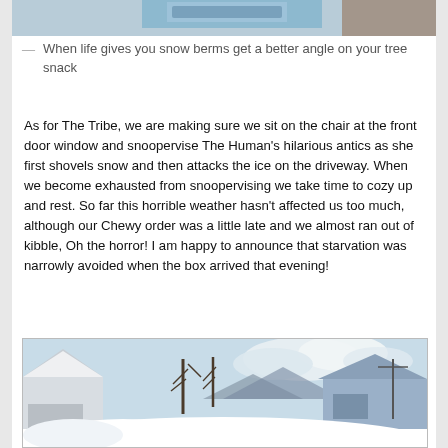[Figure (photo): Partial image at top of page, cropped — appears to show a cat-related graphic with blue/white stripes and a brown shape on the right.]
— When life gives you snow berms get a better angle on your tree snack
As for The Tribe, we are making sure we sit on the chair at the front door window and snoopervise The Human's hilarious antics as she first shovels snow and then attacks the ice on the driveway. When we become exhausted from snoopervising we take time to cozy up and rest. So far this horrible weather hasn't affected us too much, although our Chewy order was a little late and we almost ran out of kibble, Oh the horror! I am happy to announce that starvation was narrowly avoided when the box arrived that evening!
[Figure (photo): Outdoor winter scene showing snow-covered neighborhood with houses, bare trees, mountains in background under a partly cloudy sky.]